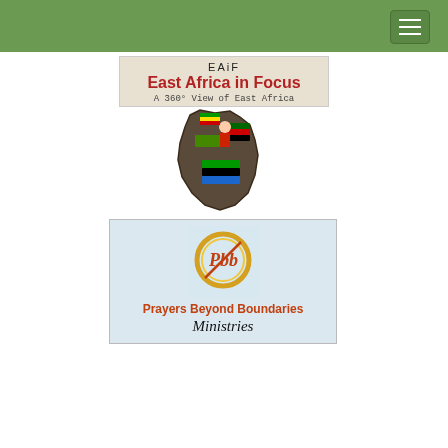Navigation header bar with menu button
[Figure (logo): EAiF East Africa in Focus logo with text 'A 360° View of East Africa' and illustrated map of East Africa with country flags]
[Figure (logo): Prayers Beyond Boundaries Ministries logo with gold ring emblem containing cursive 'Pbb' initials, orange text 'Prayers Beyond Boundaries' and cursive 'Ministries' below]